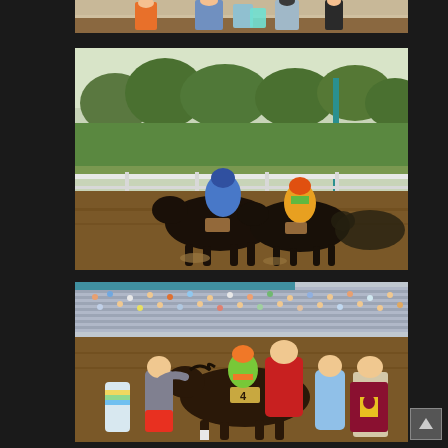[Figure (photo): Partial/cropped top photo of horse racing spectators at a racetrack, showing people in colorful shirts standing near the track rail.]
[Figure (photo): Horse race in progress at a dirt track. Two horses and jockeys are in close competition. Left jockey wears blue, right jockey wears orange/yellow. Trees and green infield visible in background.]
[Figure (photo): Winner's circle scene at a racetrack. A dark horse with number 4 is surrounded by handlers, jockey in green/orange silks, and people in casual clothes. Grandstands with spectators visible in background. A person holds a maroon and yellow blanket/rug.]